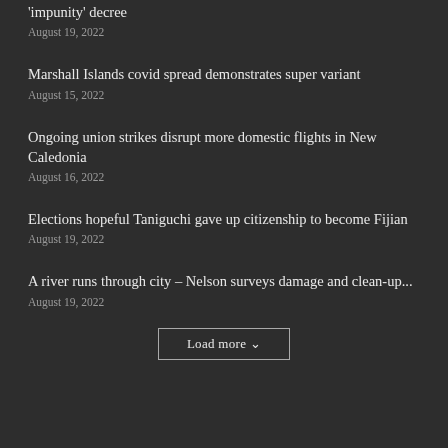'impunity' decree
August 19, 2022
Marshall Islands covid spread demonstrates super variant
August 15, 2022
Ongoing union strikes disrupt more domestic flights in New Caledonia
August 16, 2022
Elections hopeful Taniguchi gave up citizenship to become Fijian
August 19, 2022
A river runs through city – Nelson surveys damage and clean-up...
August 19, 2022
Load more